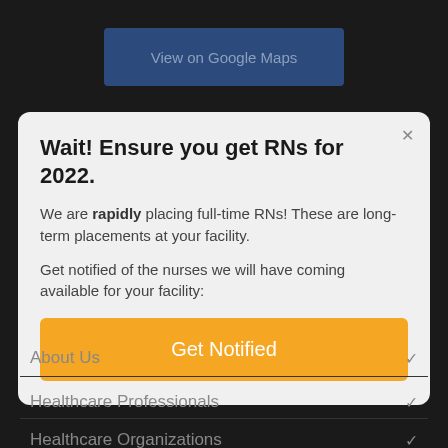[Figure (screenshot): Blue 'View on Google Maps' button on dark background]
Wait! Ensure you get RNs for 2022.
We are rapidly placing full-time RNs! These are long-term placements at your facility.
Get notified of the nurses we will have coming available for your facility:
Get Notified
About Us
Healthcare Professionals
Healthcare Organizations